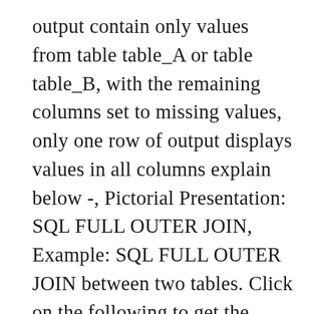output contain only values from table table_A or table table_B, with the remaining columns set to missing values, only one row of output displays values in all columns explain below -, Pictorial Presentation: SQL FULL OUTER JOIN, Example: SQL FULL OUTER JOIN between two tables. Click on the following to get the slides presentation of all JOINS -. There are two types of outer join in SQL : 1.Left outer Join 2.Right outer Join spelling and grammar. Join two tables with common word in SQL server, Link 2 tables without a join when table 2 returns 0 rows, How to write join query when there is no common fields in two tables without using union, How to join two tables